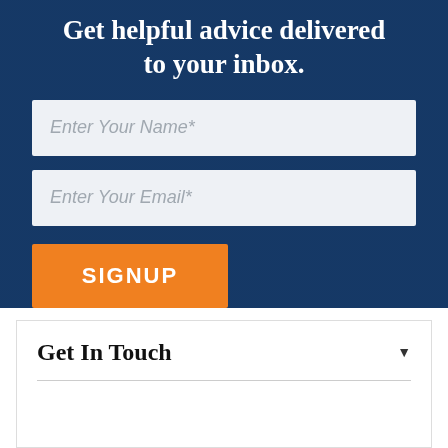Get helpful advice delivered to your inbox.
Enter Your Name*
Enter Your Email*
SIGNUP
Get In Touch